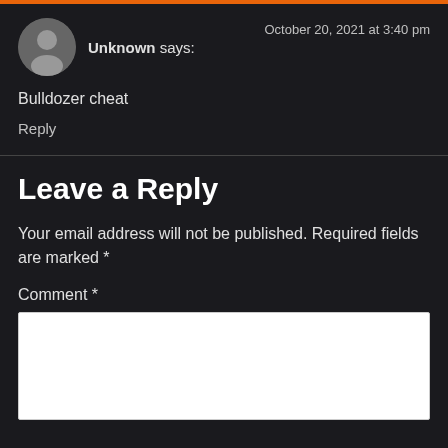[Figure (other): Orange horizontal bar at top of page]
[Figure (photo): Gray circular avatar with generic user silhouette icon]
Unknown says:
October 20, 2021 at 3:40 pm
Bulldozer cheat
Reply
Leave a Reply
Your email address will not be published. Required fields are marked *
Comment *